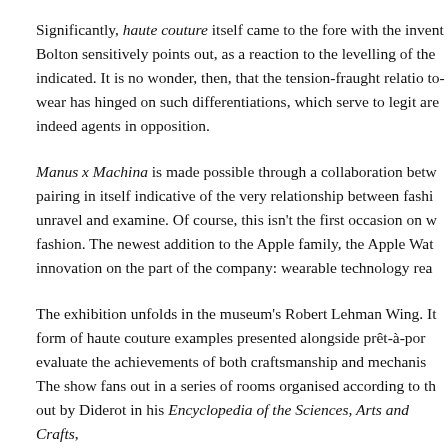Significantly, haute couture itself came to the fore with the invent Bolton sensitively points out, as a reaction to the levelling of the indicated. It is no wonder, then, that the tension-fraught relatio to-wear has hinged on such differentiations, which serve to legit are indeed agents in opposition.
Manus x Machina is made possible through a collaboration betw pairing in itself indicative of the very relationship between fashi unravel and examine. Of course, this isn't the first occasion on w fashion. The newest addition to the Apple family, the Apple Wat innovation on the part of the company: wearable technology rea
The exhibition unfolds in the museum's Robert Lehman Wing. It form of haute couture examples presented alongside prêt-à-por evaluate the achievements of both craftsmanship and mechanis The show fans out in a series of rooms organised according to th out by Diderot in his Encyclopedia of the Sciences, Arts and Crafts,